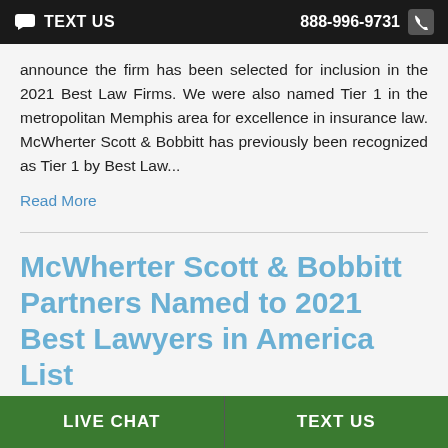TEXT US   888-996-9731
announce the firm has been selected for inclusion in the 2021 Best Law Firms. We were also named Tier 1 in the metropolitan Memphis area for excellence in insurance law. McWherter Scott & Bobbitt has previously been recognized as Tier 1 by Best Law...
Read More
McWherter Scott & Bobbitt Partners Named to 2021 Best Lawyers in America List
LIVE CHAT   TEXT US